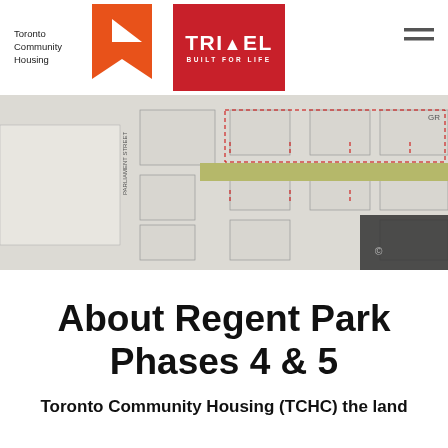Toronto Community Housing | TRIDEL BUILT FOR LIFE
[Figure (photo): Aerial blueprint/site plan map of Regent Park showing building footprints, streets including Parliament Street, and a highlighted road in olive/yellow-green, with a dark device edge visible at bottom right.]
About Regent Park Phases 4 & 5
Toronto Community Housing (TCHC) the land...